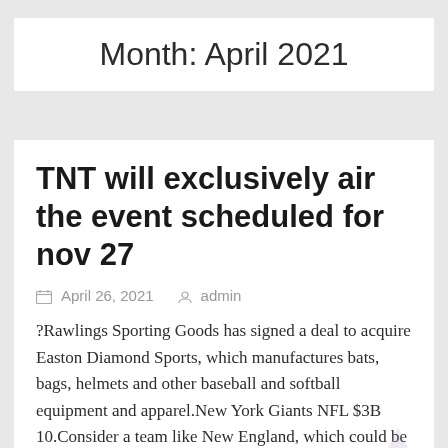Month: April 2021
TNT will exclusively air the event scheduled for nov 27
April 26, 2021   admin
?Rawlings Sporting Goods has signed a deal to acquire Easton Diamond Sports, which manufactures bats, bags, helmets and other baseball and softball equipment and apparel.New York Giants NFL $3B 10.Consider a team like New England, which could be